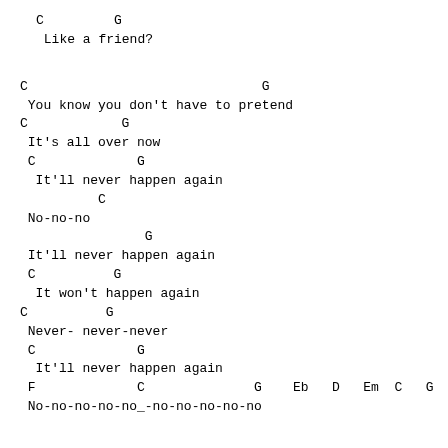C         G
 Like a friend?
C                              G
 You know you don't have to pretend
C            G
 It's all over now
 C             G
  It'll never happen again
         C
 No-no-no
               G
 It'll never happen again
 C          G
  It won't happen again
C          G
 Never- never-never
 C             G
  It'll never happen again
 F             C              G    Eb   D   Em  C   G  F
 No-no-no-no-no_-no-no-no-no-no
G                      C
  So maybe you're right
D                       Em
  And maybe you're wrong